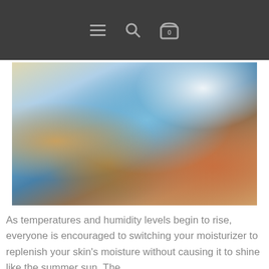Navigation bar with menu, search, and cart (0 items) icons
[Figure (photo): A woman with flowing dark hair laughing joyfully outdoors in bright sunlight, with blurred background suggesting summer energy]
As temperatures and humidity levels begin to rise, everyone is encouraged to switching your moisturizer to replenish your skin's moisture without causing it to shine like the summer sun. The...
Keep reading →